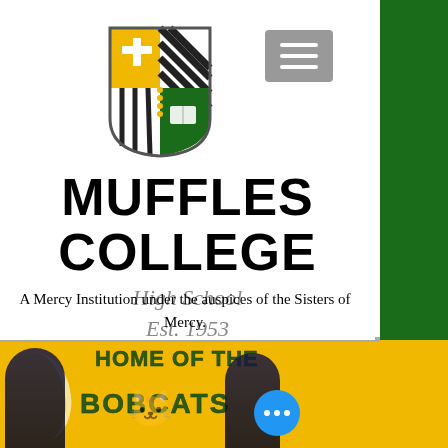[Figure (logo): Muffles College shield/crest logo with cross, diagonal stripes, green sections, yellow sections, and an open book]
MUFFLES COLLEGE
High School
Est. 1953
A Mercy Institution under the auspices of the Sisters of Mercy.
[Figure (photo): Photo banner showing two students in navy and gold jackets with text 'HOME OF THE BOBCATS' and a bobcat mascot graphic on a gold background]